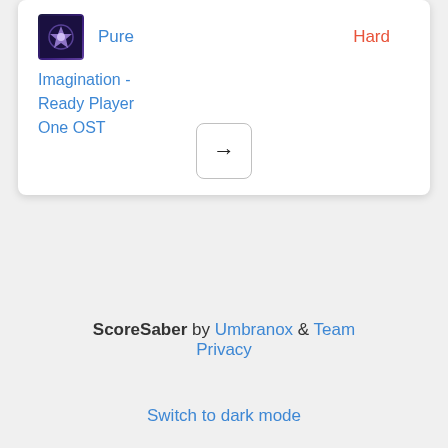[Figure (screenshot): Card with album art thumbnail, song name 'Pure' in blue, difficulty 'Hard' in orange-red, and subtitle 'Imagination - Ready Player One OST' in blue, with an arrow button at the bottom center]
Pure
Hard
Imagination - Ready Player One OST
ScoreSaber by Umbranox & Team Privacy
Switch to dark mode